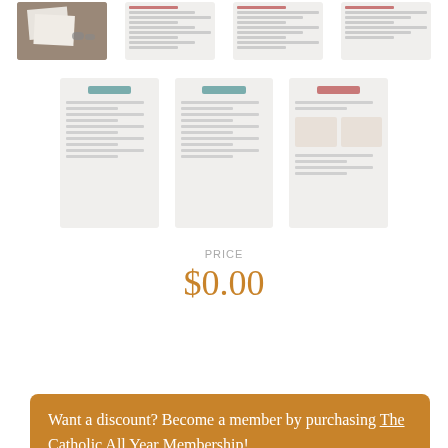[Figure (photo): Row of product thumbnail images at the top of the page — first is a photo of documents, rest are document previews with colored text lines]
[Figure (photo): Second row of three product thumbnail images showing document previews with teal headers and text lines]
$0.00
1
Add to cart
Want a discount? Become a member by purchasing The Catholic All Year Membership!